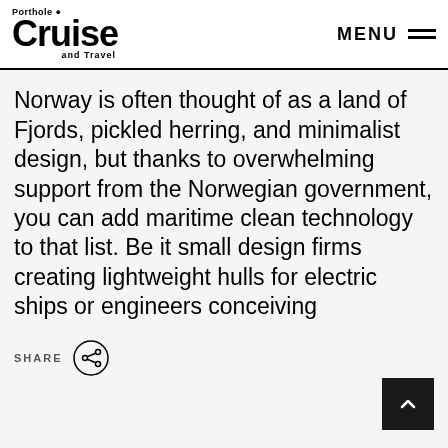Porthole Cruise and Travel — MENU
Norway is often thought of as a land of Fjords, pickled herring, and minimalist design, but thanks to overwhelming support from the Norwegian government, you can add maritime clean technology to that list. Be it small design firms creating lightweight hulls for electric ships or engineers conceiving
[Figure (other): SHARE button with share icon circle]
[Figure (other): Back to top button (dark square with upward chevron arrow)]